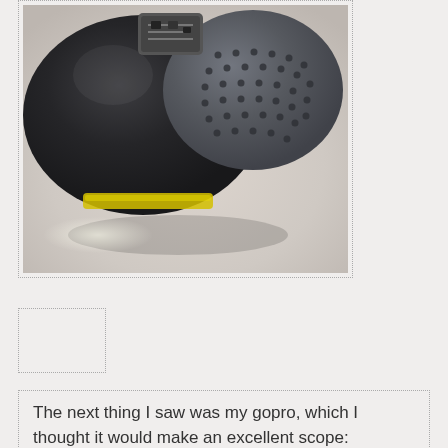[Figure (photo): Top-down photo of a dark rubber helmet or mask with a gray perforated dome on the right side, electronic components visible at top, and a yellow strap visible at the bottom edge. Background is a light beige/gray surface with a light reflection.]
[Figure (photo): Small partially visible image box, appears mostly empty/cropped.]
The next thing I saw was my gopro, which I thought it would make an excellent scope: